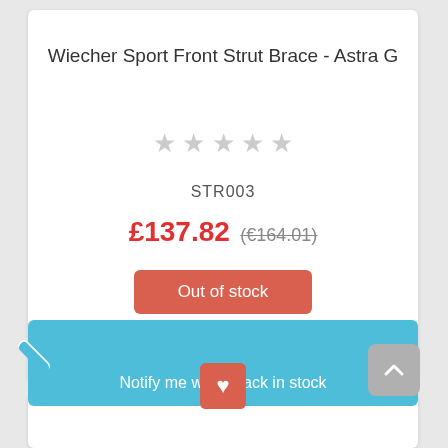Wiecher Sport Front Strut Brace - Astra G
★★★★★ (5 empty stars rating)
STR003
£137.82 (€164.01)
Out of stock
✓ Notify me when back in stock
[Figure (other): Wishlist/favorite heart button (pink/red rounded square button with white heart icon)]
[Figure (other): Scroll to top button (grey rounded square with upward chevron arrow)]